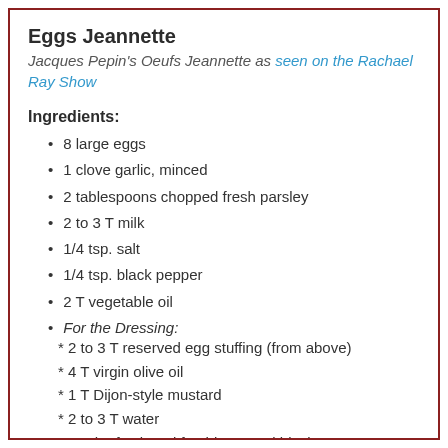Eggs Jeannette
Jacques Pepin's Oeufs Jeannette as seen on the Rachael Ray Show
Ingredients:
8 large eggs
1 clove garlic, minced
2 tablespoons chopped fresh parsley
2 to 3 T milk
1/4 tsp. salt
1/4 tsp. black pepper
2 T vegetable oil
For the Dressing: * 2 to 3 T reserved egg stuffing (from above) * 4 T virgin olive oil * 1 T Dijon-style mustard * 2 to 3 T water * Dash of salt and freshly ground black
* Dash of salt and freshly ground black